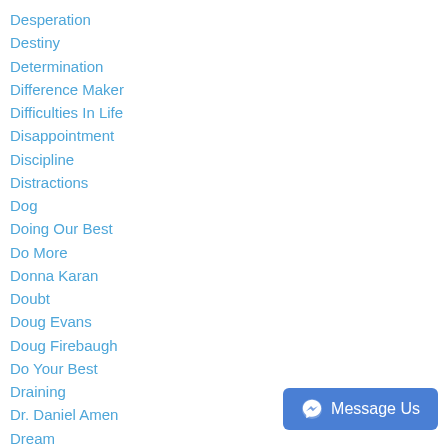Desperation
Destiny
Determination
Difference Maker
Difficulties In Life
Disappointment
Discipline
Distractions
Dog
Doing Our Best
Do More
Donna Karan
Doubt
Doug Evans
Doug Firebaugh
Do Your Best
Draining
Dr. Daniel Amen
Dream
Dreaming